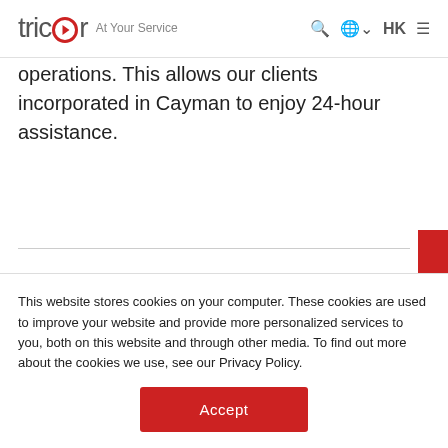tricor At Your Service
operations. This allows our clients incorporated in Cayman to enjoy 24-hour assistance.
Specialities & Focus
This website stores cookies on your computer. These cookies are used to improve your website and provide more personalized services to you, both on this website and through other media. To find out more about the cookies we use, see our Privacy Policy.
Accept